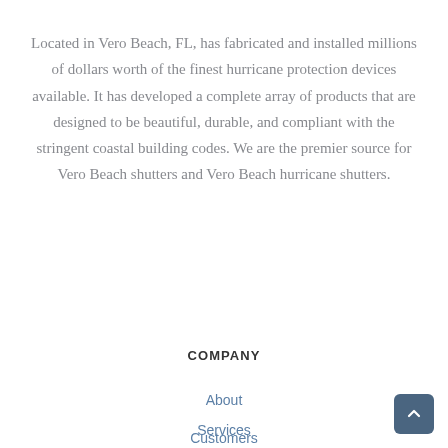Located in Vero Beach, FL, has fabricated and installed millions of dollars worth of the finest hurricane protection devices available. It has developed a complete array of products that are designed to be beautiful, durable, and compliant with the stringent coastal building codes. We are the premier source for Vero Beach shutters and Vero Beach hurricane shutters.
COMPANY
About
Services
Customers